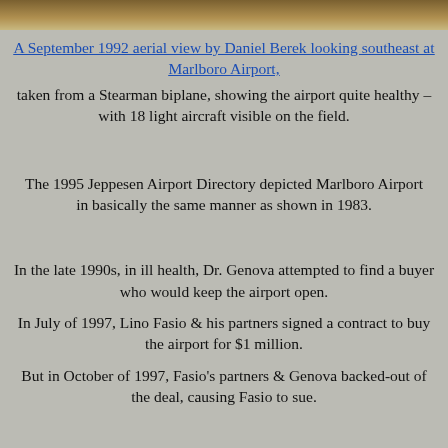[Figure (photo): Aerial photograph of Marlboro Airport used as page background]
A September 1992 aerial view by Daniel Berek looking southeast at Marlboro Airport,
taken from a Stearman biplane, showing the airport quite healthy – with 18 light aircraft visible on the field.
The 1995 Jeppesen Airport Directory depicted Marlboro Airport in basically the same manner as shown in 1983.
In the late 1990s, in ill health, Dr. Genova attempted to find a buyer who would keep the airport open.
In July of 1997, Lino Fasio & his partners signed a contract to buy the airport for $1 million.
But in October of 1997, Fasio's partners & Genova backed-out of the deal, causing Fasio to sue.